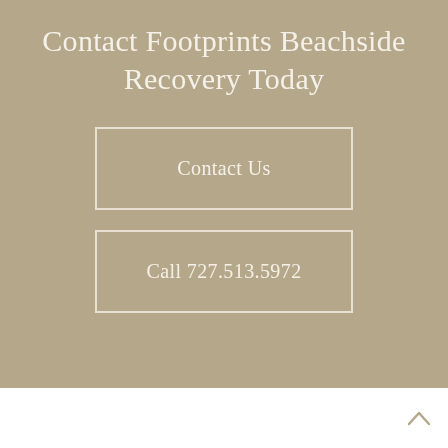Contact Footprints Beachside Recovery Today
Contact Us
Call 727.513.5972